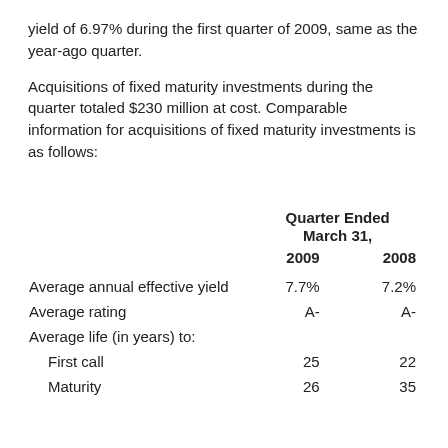yield of 6.97% during the first quarter of 2009, same as the year-ago quarter.
Acquisitions of fixed maturity investments during the quarter totaled $230 million at cost. Comparable information for acquisitions of fixed maturity investments is as follows:
|  | Quarter Ended March 31, 2009 | Quarter Ended March 31, 2008 |
| --- | --- | --- |
| Average annual effective yield | 7.7% | 7.2% |
| Average rating | A- | A- |
| Average life (in years) to: |  |  |
|   First call | 25 | 22 |
|   Maturity | 26 | 35 |